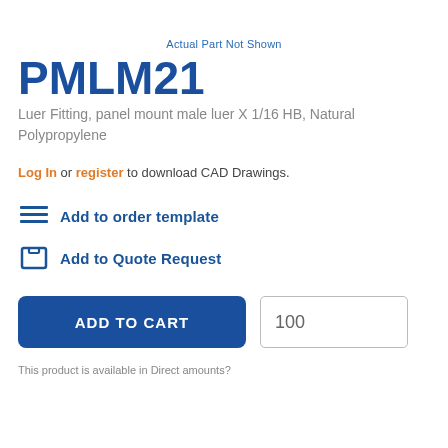Actual Part Not Shown
PMLM21
Luer Fitting, panel mount male luer X 1/16 HB, Natural Polypropylene
Log In or register to download CAD Drawings.
Add to order template
Add to Quote Request
ADD TO CART  100
This product is available in Direct amounts?